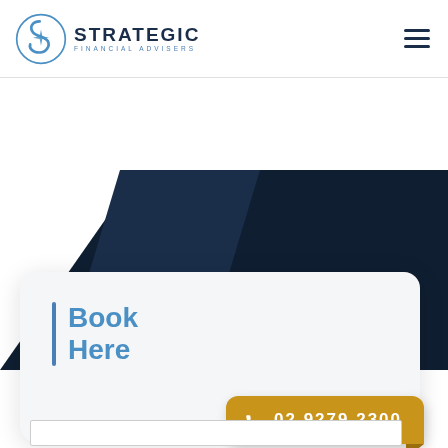[Figure (logo): Strategic Financial Advisers logo with stylized S compass icon in blue]
[Figure (infographic): Dark navy background section with diagonal white and navy shapes creating a geometric design]
Book Here
02 9279 2300